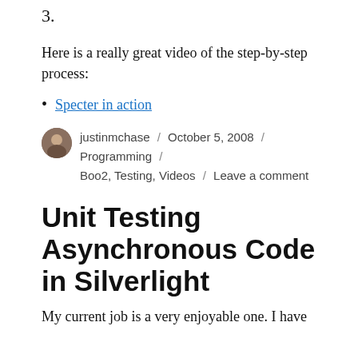3.
Here is a really great video of the step-by-step process:
Specter in action
justinmchase / October 5, 2008 / Programming / Boo2, Testing, Videos / Leave a comment
Unit Testing Asynchronous Code in Silverlight
My current job is a very enjoyable one. I have